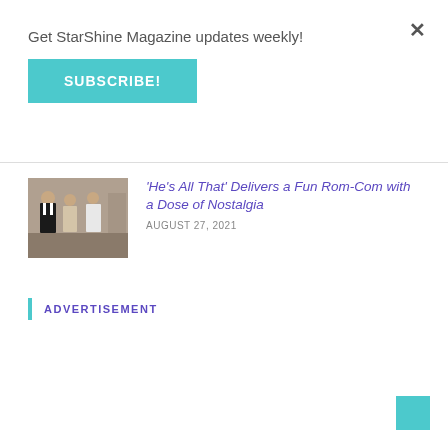×
Get StarShine Magazine updates weekly!
SUBSCRIBE!
[Figure (photo): Scene from He's All That showing people in formal attire]
'He's All That' Delivers a Fun Rom-Com with a Dose of Nostalgia
AUGUST 27, 2021
ADVERTISEMENT